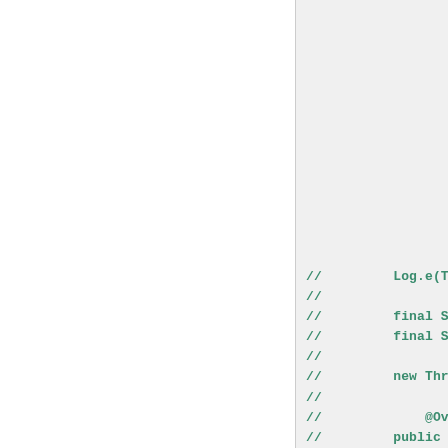[Figure (screenshot): A code editor view showing two panels. The left panel is white/blank. The right panel shows commented-out Java code in green monospace font, including lines with Log.e(TAG, ...), final String..., new Thread(n..., @Override, and public vo...]